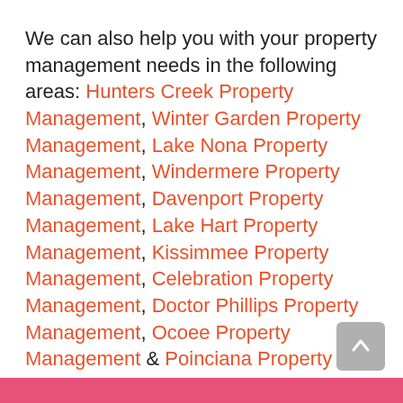We can also help you with your property management needs in the following areas: Hunters Creek Property Management, Winter Garden Property Management, Lake Nona Property Management, Windermere Property Management, Davenport Property Management, Lake Hart Property Management, Kissimmee Property Management, Celebration Property Management, Doctor Phillips Property Management, Ocoee Property Management & Poinciana Property Management.